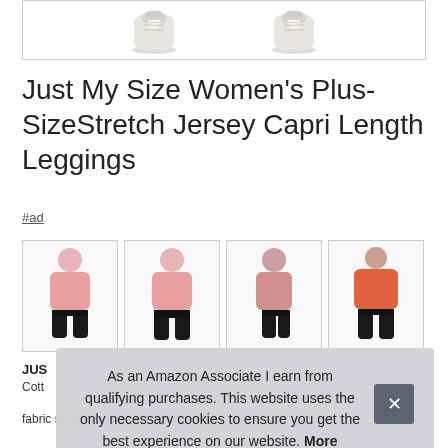[Figure (photo): Partial view of two white sneakers/canvas shoes at the bottom, shown against a white background inside a bordered box]
Just My Size Women's Plus-SizeStretch Jersey Capri Length Leggings
#ad
[Figure (photo): Four product thumbnail images of a woman wearing black capri leggings with a pink long-sleeve top, showing front, back, side views, and a full outfit view with a red/coral top]
JUS
Cott
fabric stretches for a flattering fit Charcoal Heather is 54%
As an Amazon Associate I earn from qualifying purchases. This website uses the only necessary cookies to ensure you get the best experience on our website. More information